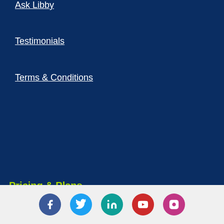Ask Libby
Testimonials
Terms & Conditions
Privacy Policy
Cookies Policy
Pricing & Plans
Subscribe
Special Deals
[Figure (infographic): Social media icons row: Facebook (dark blue circle), Twitter (light blue circle), LinkedIn (teal circle), YouTube (red circle), Instagram (pink/purple circle)]